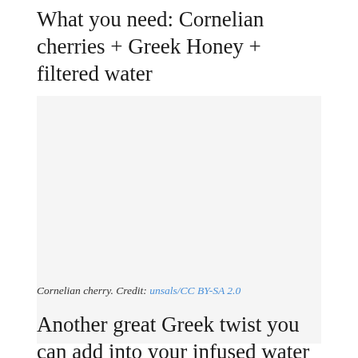What you need: Cornelian cherries + Greek Honey + filtered water
[Figure (photo): Cornelian cherry photo (image area shown as blank/placeholder)]
Cornelian cherry. Credit: unsals/CC BY-SA 2.0
Another great Greek twist you can add into your infused water drink is Cornelian cherries from